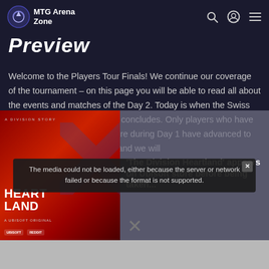MTG Arena Zone
Preview
Welcome to the Players Tour Finals! We continue our coverage of the tournament – on this page you will be able to read all about the events and matches of the Day 2. Today is when the Swiss play stage of the tournament concludes. Only players who have accumulated 12 points or more during Day 1 have advanced to Day 2 – seven more rounds and we will
[Figure (screenshot): Advertisement image for 'The Division Heartland' game, with a media error overlay message: 'The media could not be loaded, either because the server or network failed or because the format is not supported.' A close button X is shown. An article preview reads: 'The Division Heartland' appears on Ubisoft store before being taken...]